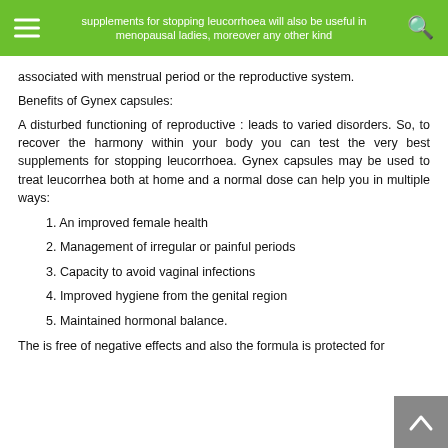supplements for stopping leucorrhoea will also be useful in menopausal ladies, moreover any other kind associated with menstrual period or the reproductive system.
Benefits of Gynex capsules:
A disturbed functioning of reproductive : leads to varied disorders. So, to recover the harmony within your body you can test the very best supplements for stopping leucorrhoea. Gynex capsules may be used to treat leucorrhea both at home and a normal dose can help you in multiple ways:
1. An improved female health
2. Management of irregular or painful periods
3. Capacity to avoid vaginal infections
4. Improved hygiene from the genital region
5. Maintained hormonal balance.
The is free of negative effects and also the formula is protected for